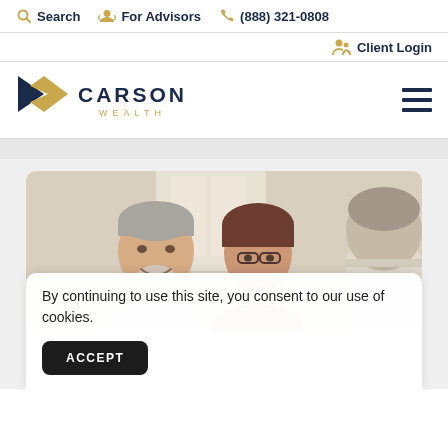Search | For Advisors | (888) 321-0808
Client Login
[Figure (logo): Carson Wealth logo with gold chevron/arrow shape and dark navy CARSON WEALTH text]
[Figure (photo): Older couple smiling at a financial advisor across a table in a bright office setting]
By continuing to use this site, you consent to our use of cookies.
ACCEPT